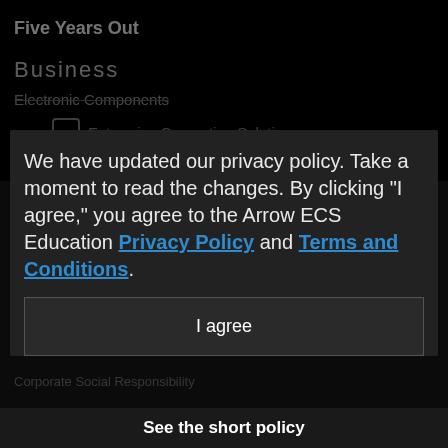Five Years Out
Business
Electronic Components
Enterprise Computing Solutions
Arrow Intelligent Solutions
We have updated our privacy policy. Take a moment to read the changes. By clicking "I agree," you agree to the Arrow ECS Education Privacy Policy and Terms and Conditions.
Five Years Out
Careers
Corporate Social Responsibility
Investor Relations
I agree
See the short policy